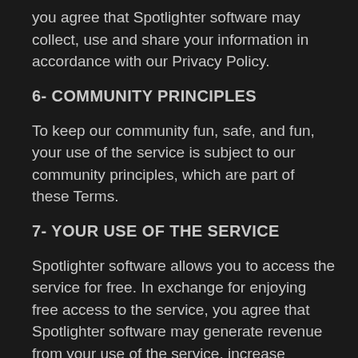you agree that Spotlighter software may collect, use and share your information in accordance with our Privacy Policy.
6- COMMUNITY PRINCIPLES
To keep our community fun, safe, and fun, your use of the service is subject to our community principles, which are part of these Terms.
7- YOUR USE OF THE SERVICE
Spotlighter software allows you to access the service for free. In exchange for enjoying free access to the service, you agree that Spotlighter software may generate revenue from your use of the service, increase goodwill, or otherwise increase the value of Spotlighter software, and you will not be entitled to share